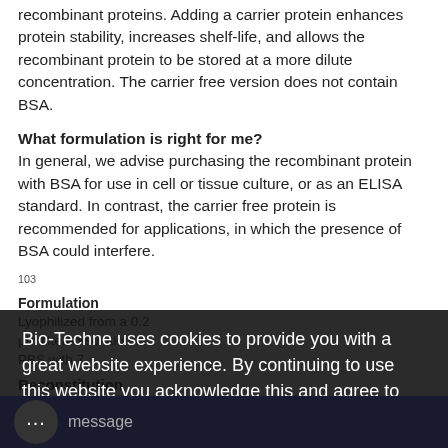recombinant proteins. Adding a carrier protein enhances protein stability, increases shelf-life, and allows the recombinant protein to be stored at a more dilute concentration. The carrier free version does not contain BSA.
What formulation is right for me?
In general, we advise purchasing the recombinant protein with BSA for use in cell or tissue culture, or as an ELISA standard. In contrast, the carrier free protein is recommended for applications, in which the presence of BSA could interfere.
103
Formulation
Lyophilized from a 0.2
µm filtered solution in
PBS with 7
Reconstitution
Bio-Techne uses cookies to provide you with a great website experience. By continuing to use this website you acknowledge this and agree to our cookie policy. Learn more.
I Agree
message